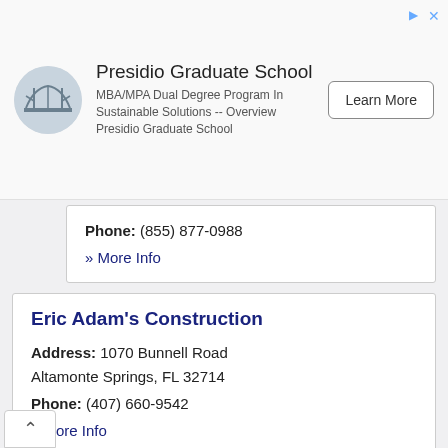[Figure (other): Advertisement banner for Presidio Graduate School with circular logo, text about MBA/MPA Dual Degree Program In Sustainable Solutions -- Overview Presidio Graduate School, and a Learn More button]
Phone: (855) 877-0988
» More Info
Eric Adam's Construction
Address: 1070 Bunnell Road
Altamonte Springs, FL 32714
Phone: (407) 660-9542
» More Info
Estates of Pinewood Hoa